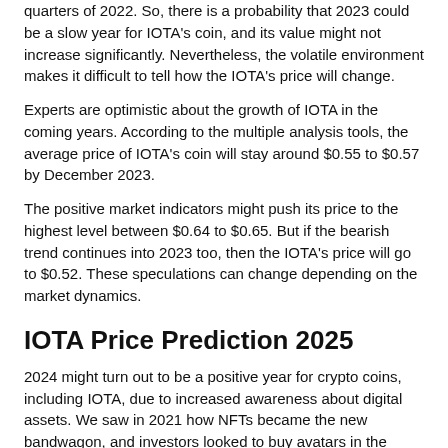quarters of 2022. So, there is a probability that 2023 could be a slow year for IOTA's coin, and its value might not increase significantly. Nevertheless, the volatile environment makes it difficult to tell how the IOTA's price will change.
Experts are optimistic about the growth of IOTA in the coming years. According to the multiple analysis tools, the average price of IOTA's coin will stay around $0.55 to $0.57 by December 2023.
The positive market indicators might push its price to the highest level between $0.64 to $0.65. But if the bearish trend continues into 2023 too, then the IOTA's price will go to $0.52. These speculations can change depending on the market dynamics.
IOTA Price Prediction 2025
2024 might turn out to be a positive year for crypto coins, including IOTA, due to increased awareness about digital assets. We saw in 2021 how NFTs became the new bandwagon, and investors looked to buy avatars in the digital world. So, there can be new projects and other programs that require digital currencies.